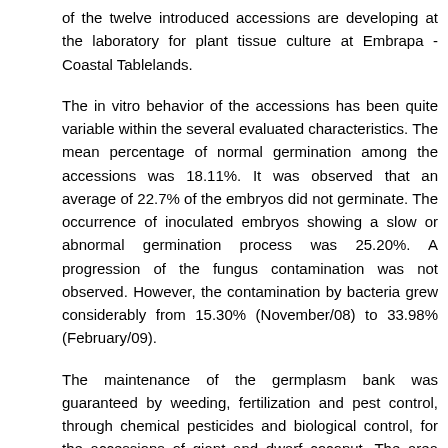of the twelve introduced accessions are developing at the laboratory for plant tissue culture at Embrapa - Coastal Tablelands.
The in vitro behavior of the accessions has been quite variable within the several evaluated characteristics. The mean percentage of normal germination among the accessions was 18.11%. It was observed that an average of 22.7% of the embryos did not germinate. The occurrence of inoculated embryos showing a slow or abnormal germination process was 25.20%. A progression of the fungus contamination was not observed. However, the contamination by bacteria grew considerably from 15.30% (November/08) to 33.98% (February/09).
The maintenance of the germplasm bank was guaranteed by weeding, fertilization and pest control, through chemical pesticides and biological control, for the accessions of giant and dwarf coconut. The area was expanded, as well as the irrigation process for the new area designated to planting. The activities proposed by the work plan LOA APO/08/002 were carried out to satisfaction, fully implementing the work plan 2008.
External links